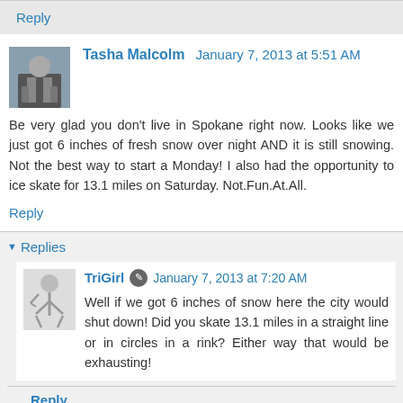Reply
Tasha Malcolm  January 7, 2013 at 5:51 AM
Be very glad you don't live in Spokane right now. Looks like we just got 6 inches of fresh snow over night AND it is still snowing. Not the best way to start a Monday! I also had the opportunity to ice skate for 13.1 miles on Saturday. Not.Fun.At.All.
Reply
Replies
TriGirl  January 7, 2013 at 7:20 AM
Well if we got 6 inches of snow here the city would shut down! Did you skate 13.1 miles in a straight line or in circles in a rink? Either way that would be exhausting!
Reply